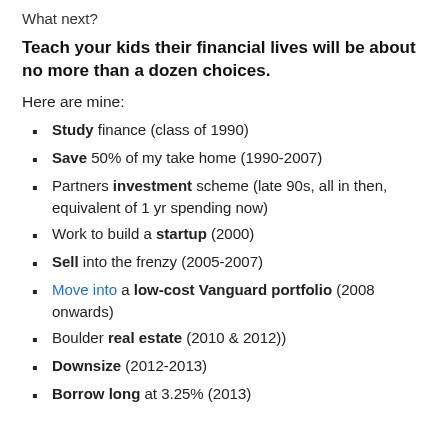What next?
Teach your kids their financial lives will be about no more than a dozen choices.
Here are mine:
Study finance (class of 1990)
Save 50% of my take home (1990-2007)
Partners investment scheme (late 90s, all in then, equivalent of 1 yr spending now)
Work to build a startup (2000)
Sell into the frenzy (2005-2007)
Move into a low-cost Vanguard portfolio (2008 onwards)
Boulder real estate (2010 & 2012))
Downsize (2012-2013)
Borrow long at 3.25% (2013)